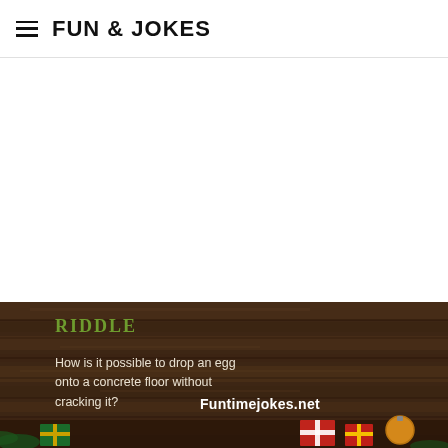FUN & JOKES
[Figure (illustration): Decorative image with dark wood plank background. Green serif text 'RIDDLE' in top left. White italic text reading 'How is it possible to drop an egg onto a concrete floor without cracking it?' Bold white text 'Funtimejokes.net' at bottom right. Christmas gifts and ornaments visible at bottom edge.]